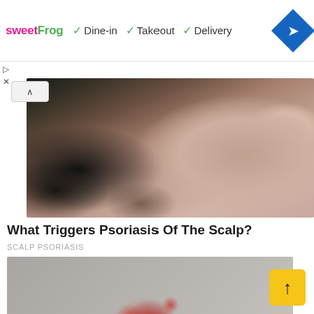[Figure (screenshot): Advertisement banner for sweetFrog showing Dine-in, Takeout, Delivery options with checkmarks and a blue navigation diamond icon]
[Figure (photo): Close-up photo of the back of a person's head and ear showing scalp psoriasis — reddish inflamed patches near the hairline]
What Triggers Psoriasis Of The Scalp?
SCALP PSORIASIS
[Figure (photo): Close-up medical photo of a severely inflamed, raised, bumpy skin lesion possibly showing severe psoriasis or another skin condition, with reddish-pink tissue and scales]